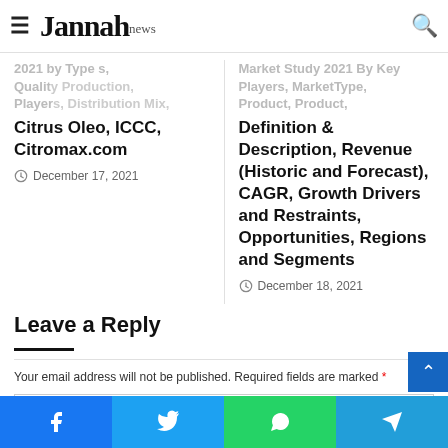Jannah news
Citrus Oleo, ICCC, Citromax.com
December 17, 2021
Market Study 2021 By Key Players, MarketType, Product, Definition & Description, Revenue (Historic and Forecast), CAGR, Growth Drivers and Restraints, Opportunities, Regions and Segments
December 18, 2021
Leave a Reply
Your email address will not be published. Required fields are marked *